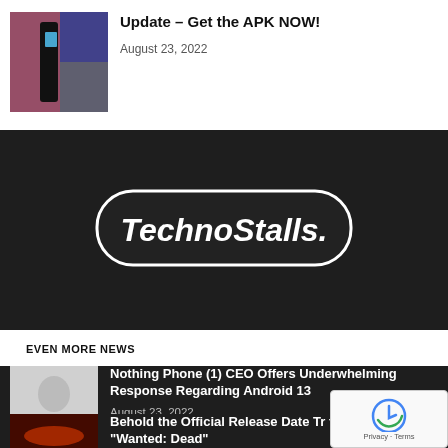[Figure (photo): Thumbnail image of phones with flags/flag pattern background]
Update – Get the APK NOW!
August 23, 2022
[Figure (logo): TechnoStalls. logo in white italic bold text inside a rounded rectangle border on dark background]
EVEN MORE NEWS
[Figure (photo): Person holding phone to ear against white background]
Nothing Phone (1) CEO Offers Underwhelming Response Regarding Android 13
August 23, 2022
[Figure (photo): Dark scene with fire and people]
Behold the Official Release Date Tr for “Wanted: Dead”